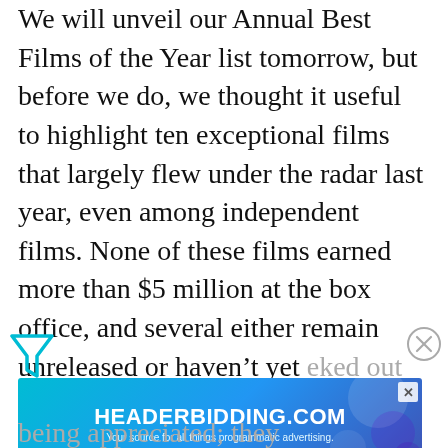We will unveil our Annual Best Films of the Year list tomorrow, but before we do, we thought it useful to highlight ten exceptional films that largely flew under the radar last year, even among independent films. None of these films earned more than $5 million at the box office, and several either remain unreleased or haven't yet eked out $1 million. That
[Figure (other): Advertisement banner for HEADERBIDDING.COM with text 'Your source for all things programmatic advertising.' with teal/blue gradient background.]
being appreciated; they